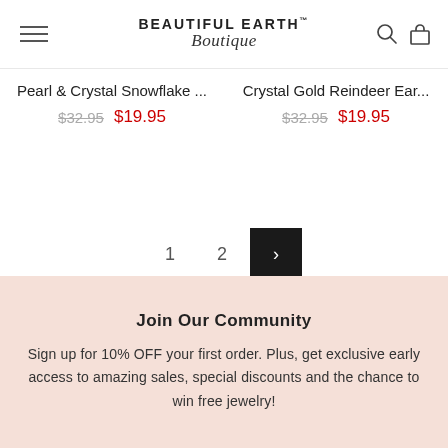BEAUTIFUL EARTH Boutique
Pearl & Crystal Snowflake ... $32.95 $19.95
Crystal Gold Reindeer Ear... $32.95 $19.95
1 2 >
Join Our Community
Sign up for 10% OFF your first order. Plus, get exclusive early access to amazing sales, special discounts and the chance to win free jewelry!